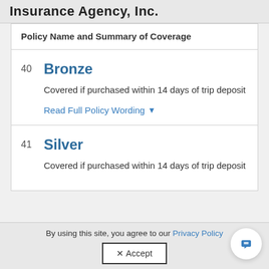Insurance Agency, Inc.
| Policy Name and Summary of Coverage |
| --- |
| 40 Bronze
Covered if purchased within 14 days of trip deposit
Read Full Policy Wording |
| 41 Silver
Covered if purchased within 14 days of trip deposit |
By using this site, you agree to our Privacy Policy
✕ Accept